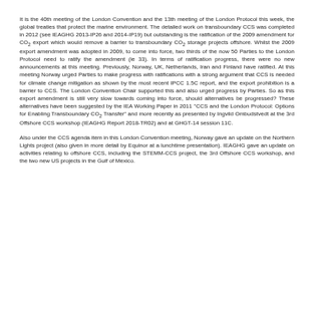It is the 40th meeting of the London Convention and the 13th meeting of the London Protocol this week, the global treaties that protect the marine environment. The detailed work on transboundary CCS was completed in 2012 (see IEAGHG 2013-IP26 and 2014-IP19) but outstanding is the ratification of the 2009 amendment for CO₂ export which would remove a barrier to transboundary CO₂ storage projects offshore. Whilst the 2009 export amendment was adopted in 2009, to come into force, two thirds of the now 50 Parties to the London Protocol need to ratify the amendment (ie 33). In terms of ratification progress, there were no new announcements at this meeting. Previously, Norway, UK, Netherlands, Iran and Finland have ratified. At this meeting Norway urged Parties to make progress with ratifications with a strong argument that CCS is needed for climate change mitigation as shown by the most recent IPCC 1.5C report, and the export prohibition is a barrier to CCS. The London Convention Chair supported this and also urged progress by Parties. So as this export amendment is still very slow towards coming into force, should alternatives be progressed? These alternatives have been suggested by the IEA Working Paper in 2011 "CCS and the London Protocol: Options for Enabling Transboundary CO₂ Transfer" and more recently as presented by Ingvild Ombudstvedt at the 3rd Offshore CCS workshop (IEAGHG Report 2018-TR02) and at GHGT-14 session 11C.
Also under the CCS agenda item in this London Convention meeting, Norway gave an update on the Northern Lights project (also given in more detail by Equinor at a lunchtime presentation). IEAGHG gave an update on activities relating to offshore CCS, including the STEMM-CCS project, the 3rd Offshore CCS workshop, and the two new US projects in the Gulf of Mexico.